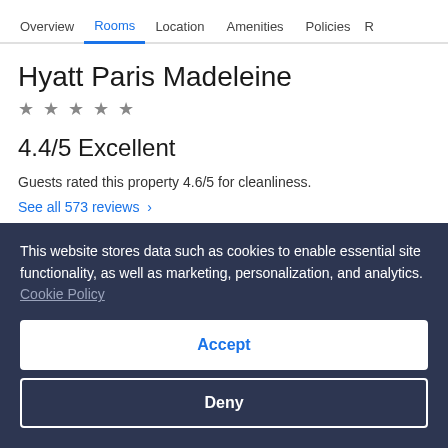Overview | Rooms | Location | Amenities | Policies | R
Hyatt Paris Madeleine
★★★★★
4.4/5 Excellent
Guests rated this property 4.6/5 for cleanliness.
See all 573 reviews ›
This website stores data such as cookies to enable essential site functionality, as well as marketing, personalization, and analytics. Cookie Policy
Accept
Deny